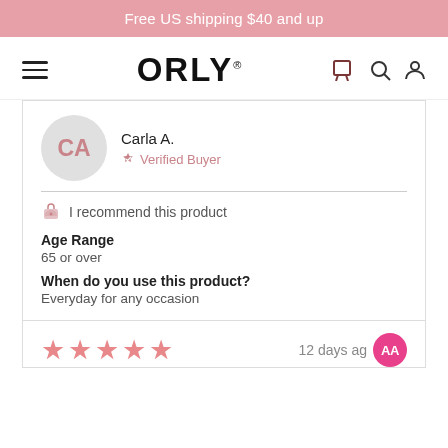Free US shipping $40 and up
[Figure (logo): ORLY brand logo with hamburger menu, cart, search, and user icons in navbar]
CA
Carla A.
Verified Buyer
I recommend this product
Age Range
65 or over
When do you use this product?
Everyday for any occasion
12 days ago